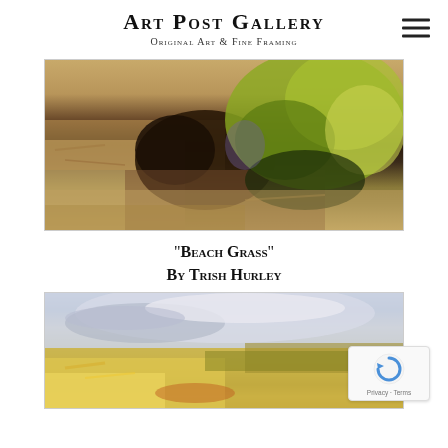Art Post Gallery
Original Art & Fine Framing
[Figure (photo): Impressionist landscape painting of beach grass and sandy terrain with dark shrubs and yellow-green foliage]
“Beach Grass”
By Trish Hurley
[Figure (photo): Impressionist landscape painting with yellow flowers and cloudy sky in the lower portion of the page, partially cut off]